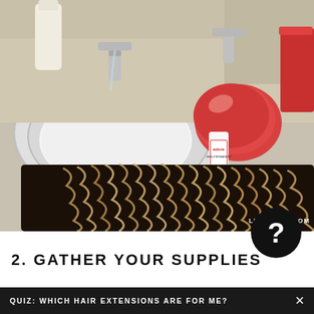[Figure (photo): Bathroom counter scene showing a white sink with chrome faucets, hair extensions (black and blonde/wavy) laid on the counter, hair dye products including a round red container and a small bottle labeled 'Adore', and a red cylindrical box. Watermark reads LUXYHAIR.COM in bottom right corner.]
[Figure (other): Black circle with white question mark symbol, overlapping bottom of photo and white section]
2. GATHER YOUR SUPPLIES
QUIZ: WHICH HAIR EXTENSIONS ARE FOR ME?